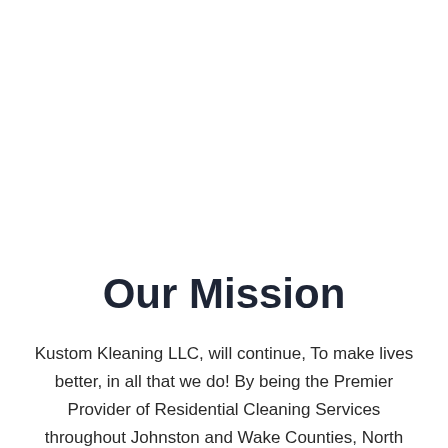Our Mission
Kustom Kleaning LLC, will continue, To make lives better, in all that we do! By being the Premier Provider of Residential Cleaning Services throughout Johnston and Wake Counties, North Carolina for years to come: